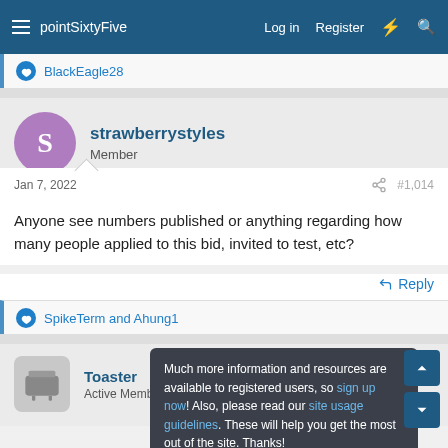pointSixtyFive — Log in | Register
BlackEagle28
strawberrystyles
Member
Jan 7, 2022    #1,014
Anyone see numbers published or anything regarding how many people applied to this bid, invited to test, etc?
SpikeTerm and Ahung1
Toaster
Active Member
Much more information and resources are available to registered users, so sign up now! Also, please read our site usage guidelines. These will help you get the most out of the site. Thanks!